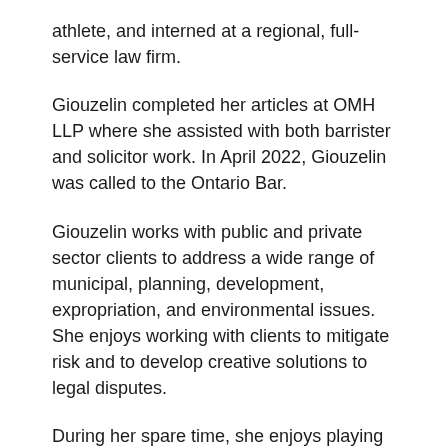athlete, and interned at a regional, full-service law firm.
Giouzelin completed her articles at OMH LLP where she assisted with both barrister and solicitor work. In April 2022, Giouzelin was called to the Ontario Bar.
Giouzelin works with public and private sector clients to address a wide range of municipal, planning, development, expropriation, and environmental issues. She enjoys working with clients to mitigate risk and to develop creative solutions to legal disputes.
During her spare time, she enjoys playing and watching sports, trying out new restaurants, and travelling to new destinations.